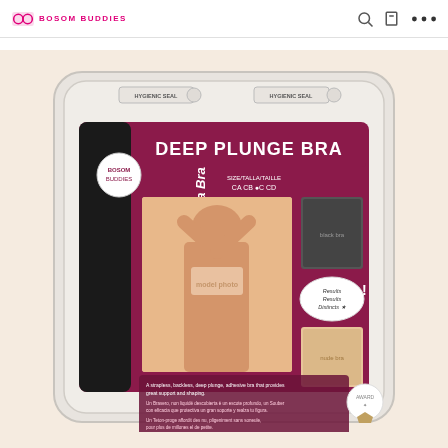BOSOM BUDDIES
[Figure (photo): Product photo of a Deep Plunge Bra package by Bosom Buddies. The packaging shows a woman modeling the bra, with additional small photos showing the bra in black and nude/beige colors. The package has text reading 'DEEP PLUNGE BRA', 'HYGIENIC SEAL', and size information. The package is white/clear plastic clamshell style with a dark maroon/burgundy product card inside. Text on the package reads 'A strapless, backless, deep plunge, adhesive bra that provides great support and shaping.']